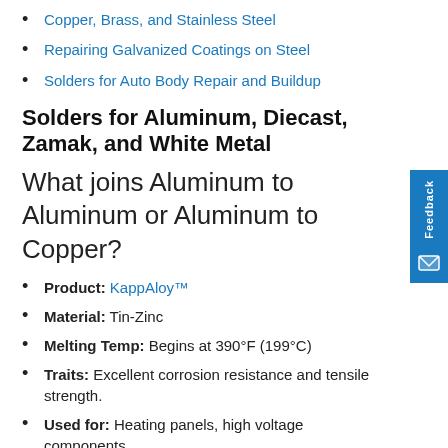Copper, Brass, and Stainless Steel
Repairing Galvanized Coatings on Steel
Solders for Auto Body Repair and Buildup
Solders for Aluminum, Diecast, Zamak, and White Metal
What joins Aluminum to Aluminum or Aluminum to Copper?
Product: KappAloy™
Material: Tin-Zinc
Melting Temp: Begins at 390°F (199°C)
Traits: Excellent corrosion resistance and tensile strength.
Used for: Heating panels, high voltage components,